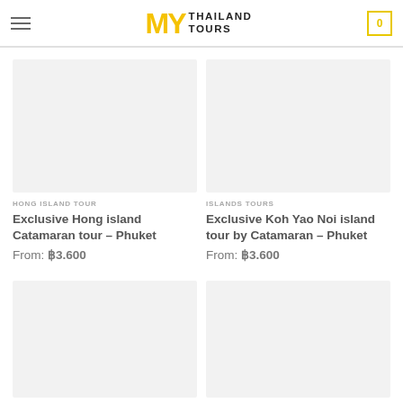My Thailand Tours — navigation header with logo and cart
[Figure (photo): Empty white/light gray image placeholder for Hong Island Tour product]
HONG ISLAND TOUR
Exclusive Hong island Catamaran tour – Phuket
From: ฿3.600
[Figure (photo): Empty white/light gray image placeholder for Islands Tours product]
ISLANDS TOURS
Exclusive Koh Yao Noi island tour by Catamaran – Phuket
From: ฿3.600
[Figure (photo): Empty white/light gray image placeholder for bottom-left product]
[Figure (photo): Empty white/light gray image placeholder for bottom-right product]